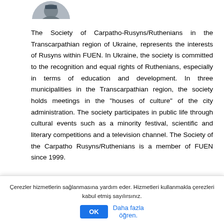[Figure (photo): Partial circular photo of a person in a suit, cropped at the bottom of the visible area]
The Society of Carpatho-Rusyns/Ruthenians in the Transcarpathian region of Ukraine, represents the interests of Rusyns within FUEN. In Ukraine, the society is committed to the recognition and equal rights of Ruthenians, especially in terms of education and development. In three municipalities in the Transcarpathian region, the society holds meetings in the "houses of culture" of the city administration. The society participates in public life through cultural events such as a minority festival, scientific and literary competitions and a television channel. The Society of the Carpatho Rusyns/Ruthenians is a member of FUEN since 1999.
Carpatho-Rusyns/Ruthenians
Çerezler hizmetlerin sağlanmasına yardım eder. Hizmetleri kullanmakla çerezleri kabul etmiş sayılırsınız.
OK   Daha fazla öğren.